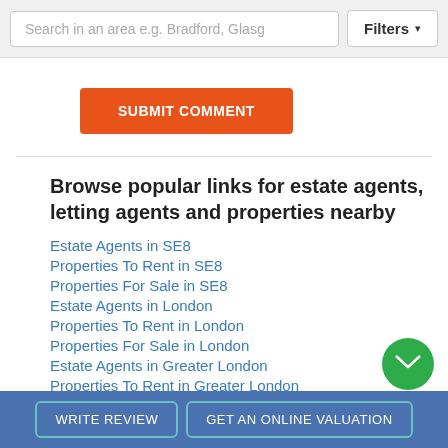Search in an area e.g. Bradford, Glasg | Filters
SUBMIT COMMENT
Browse popular links for estate agents, letting agents and properties nearby
Estate Agents in SE8
Properties To Rent in SE8
Properties For Sale in SE8
Estate Agents in London
Properties To Rent in London
Properties For Sale in London
Estate Agents in Greater London
Properties To Rent in Greater London
WRITE REVIEW | GET AN ONLINE VALUATION